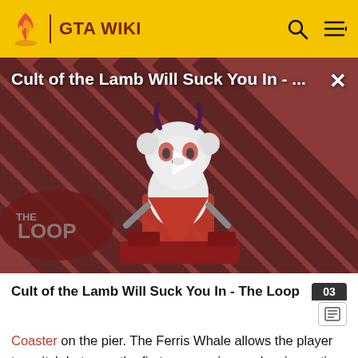GTA WIKI
[Figure (screenshot): Video thumbnail for 'Cult of the Lamb Will Suck You In - The Loop' showing a cartoon lamb character on a red striped background with 'THE LOOP' text and a play button overlay]
Cult of the Lamb Will Suck You In - The Loop
Coaster on the pier. The Ferris Whale allows the player to switch between the first-person view and a cinematic view allowing players to get a better view of the pier. The